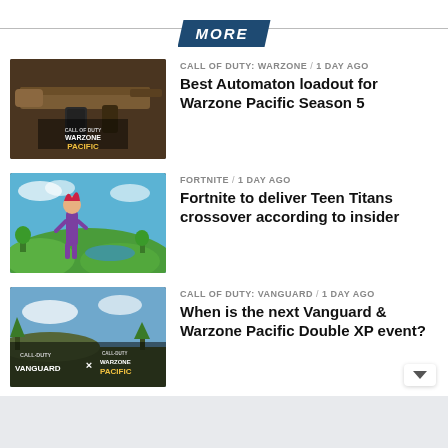MORE
[Figure (photo): Call of Duty Warzone Pacific branded image showing a rifle/weapon close-up with 'WARZONE PACIFIC' logo overlay]
CALL OF DUTY: WARZONE / 1 day ago
Best Automaton loadout for Warzone Pacific Season 5
[Figure (photo): Fortnite game screenshot showing a female character (Starfire/Teen Titans style) standing on a cliff overlooking a colorful map landscape]
FORTNITE / 1 day ago
Fortnite to deliver Teen Titans crossover according to insider
[Figure (photo): Call of Duty Vanguard x Warzone Pacific promotional crossover image with logos for both games]
CALL OF DUTY: VANGUARD / 1 day ago
When is the next Vanguard & Warzone Pacific Double XP event?